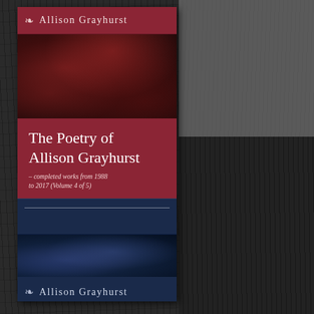[Figure (photo): Book cover of 'The Poetry of Allison Grayhurst' - completed works from 1988 to 2017 (Volume 4 of 5), with dark red/organic textured imagery, red title bands, navy bottom bands, and author name. A dark bark/rock textured background fills the right side of the image.]